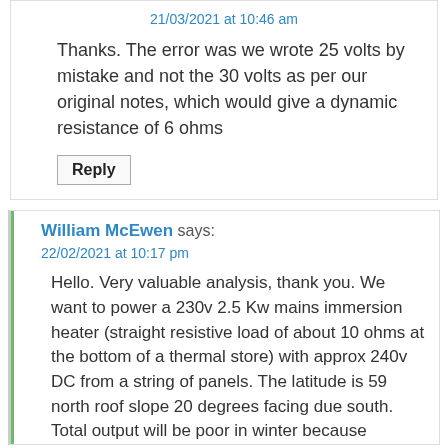21/03/2021 at 10:46 am
Thanks. The error was we wrote 25 volts by mistake and not the 30 volts as per our original notes, which would give a dynamic resistance of 6 ohms
Reply
William McEwen says:
22/02/2021 at 10:17 pm
Hello. Very valuable analysis, thank you. We want to power a 230v 2.5 Kw mains immersion heater (straight resistive load of about 10 ohms at the bottom of a thermal store) with approx 240v DC from a string of panels. The latitude is 59 north roof slope 20 degrees facing due south.
Total output will be poor in winter because